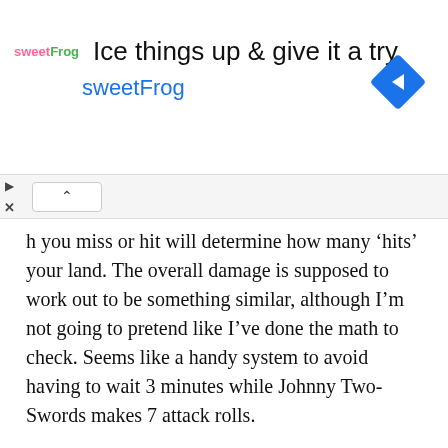[Figure (infographic): Advertisement banner for sweetFrog frozen yogurt. Shows sweetFrog logo on left, headline 'Ice things up & give it a try', brand name 'sweetFrog' in blue, and a blue navigation diamond icon on the right.]
h you miss or hit will determine how many ‘hits’ your land. The overall damage is supposed to work out to be something similar, although I’m not going to pretend like I’ve done the math to check. Seems like a handy system to avoid having to wait 3 minutes while Johnny Two-Swords makes 7 attack rolls.
Wound Thresholds: The wound threshold system applies blanket penalties to character as they lose more of their hit points. This does not seem intended to provide any particular mechanical benefit to the game, but rather a ‘realism’ benefit in that characters’ effectiveness is reduced as they are injured, rather than going from perfect to out in one hit point. Indeed, it comes with a significant mechanical